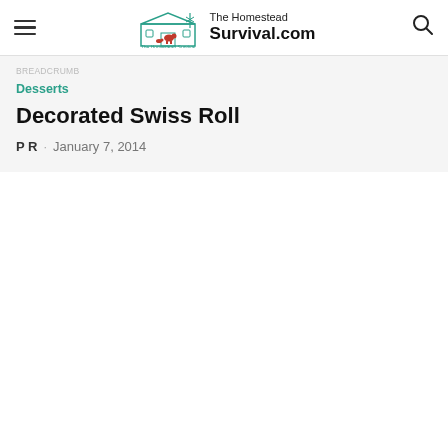The Homestead Survival.com
Desserts
Decorated Swiss Roll
P R · January 7, 2014